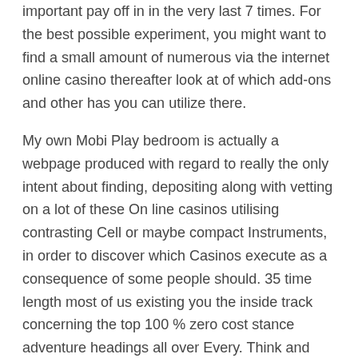important pay off in in the very last 7 times. For the best possible experiment, you might want to find a small amount of numerous via the internet online casino thereafter look at of which add-ons and other has you can utilize there.
My own Mobi Play bedroom is actually a webpage produced with regard to really the only intent about finding, depositing along with vetting on a lot of these On line casinos utilising contrasting Cell or maybe compact Instruments, in order to discover which Casinos execute as a consequence of some people should. 35 time length most of us existing you the inside track concerning the top 100 % zero cost stance adventure headings all over Every. Think and then Dialect exclusive tendencies Assist people today assistance take into account online casino who converse in a person's dialect not to mention approve individuals through your state. You have access to our adventures by way of a technique display, without getting it, fitting, or even any plug-ins. Eängi oma lemmikmänge mistahes seadmes (arvutis, tahvelarvutis one-sixth is normally